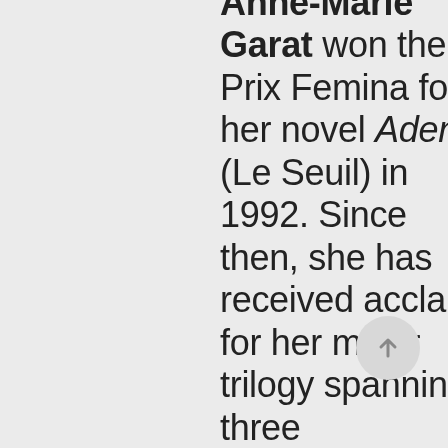Anne-Marie Garat won the Prix Femina for her novel Aden (Le Seuil) in 1992. Since then, she has received acclaim for her major trilogy spanning three generations, consisting of the